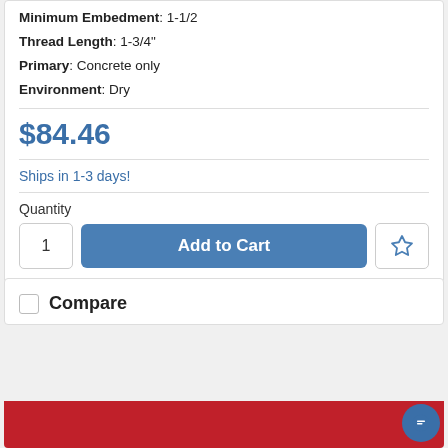Minimum Embedment: 1-1/2
Thread Length: 1-3/4"
Primary: Concrete only
Environment: Dry
$84.46
Ships in 1-3 days!
Quantity
Add to Cart
Compare